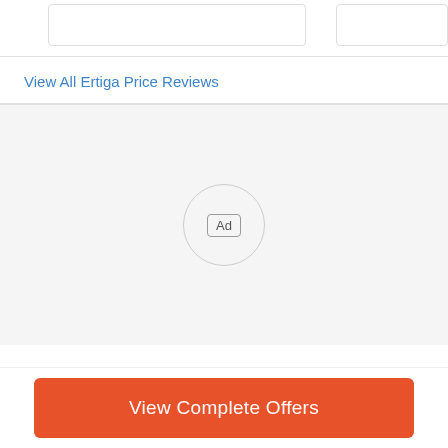[Figure (screenshot): Two partial card elements at top, partially cropped]
View All Ertiga Price Reviews
[Figure (other): Advertisement placeholder area with Ad label in circle]
View Complete Offers